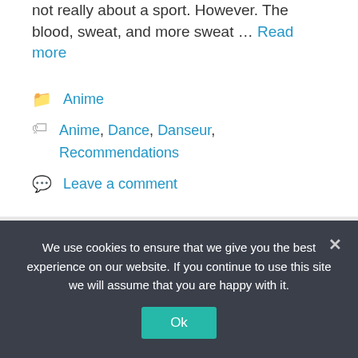not really about a sport. However. The blood, sweat, and more sweat … Read more
Categories: Anime
Tags: Anime, Dance, Danseur, Recommendations
Leave a comment
Episode 11 – Dance
We use cookies to ensure that we give you the best experience on our website. If you continue to use this site we will assume that you are happy with it.
Ok